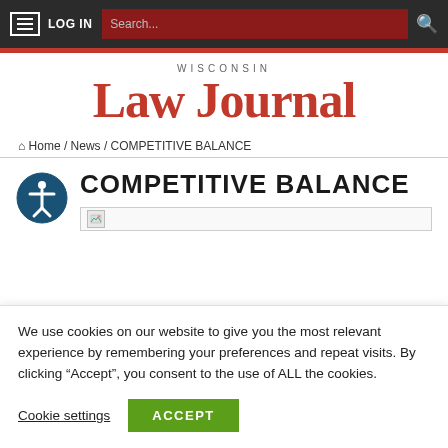LOG IN | Search...
[Figure (logo): Wisconsin Law Journal logo in red serif font]
Home / News / COMPETITIVE BALANCE
COMPETITIVE BALANCE
[Figure (other): Broken/loading image placeholder bar]
We use cookies on our website to give you the most relevant experience by remembering your preferences and repeat visits. By clicking “Accept”, you consent to the use of ALL the cookies.
Cookie settings | ACCEPT